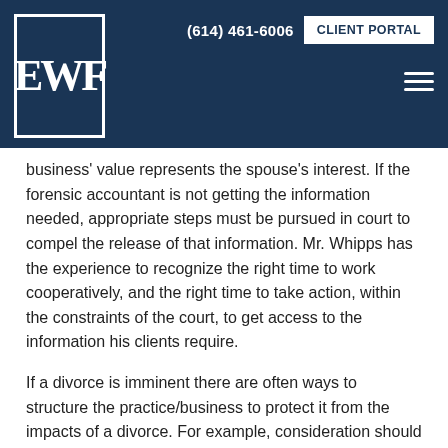(614) 461-6006  CLIENT PORTAL
business' value represents the spouse's interest. If the forensic accountant is not getting the information needed, appropriate steps must be pursued in court to compel the release of that information. Mr. Whipps has the experience to recognize the right time to work cooperatively, and the right time to take action, within the constraints of the court, to get access to the information his clients require.
If a divorce is imminent there are often ways to structure the practice/business to protect it from the impacts of a divorce. For example, consideration should be given to the placement of the interests of the party into a trust governed by an independent trustee. This can preserve the smooth operation of a business, and prevents the family from facing a forced sale. It may also prevent an ex-spouse from having access to or influence upon family matters.